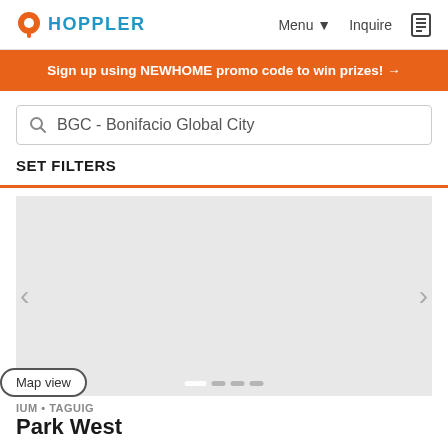[Figure (logo): Hoppler logo with orange map pin icon and blue HOPPLER text]
Menu ▾   Inquire
Sign up using NEWHOME promo code to win prizes! →
BGC - Bonifacio Global City
SET FILTERS
[Figure (photo): Gray placeholder image carousel for property listing]
Map view
IUM • TAGUIG
Park West